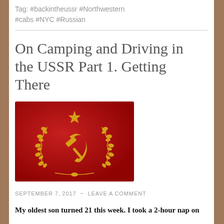Tag: #backintheussr #Northwestern #cabs #NYC #Russian
On Camping and Driving in the USSR Part 1. Getting There
[Figure (illustration): Red background image with golden Soviet hammer and sickle emblem and star, surrounded by laurel wreath — USSR coat of arms style illustration]
SEPTEMBER 7, 2017 ~ LEAVE A COMMENT
My oldest son turned 21 this week. I took a 2-hour nap on